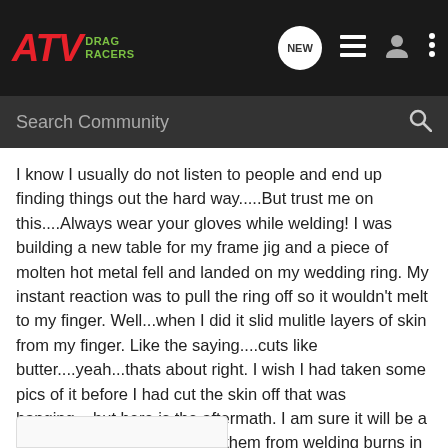ATV DRAG RACERS
Search Community
I know I usually do not listen to people and end up finding things out the hard way.....But trust me on this....Always wear your gloves while welding! I was building a new table for my frame jig and a piece of molten hot metal fell and landed on my wedding ring. My instant reaction was to pull the ring off so it wouldn't melt to my finger. Well...when I did it slid mulitle layers of skin from my finger. Like the saying....cuts like butter....yeah...thats about right. I wish I had taken some pics of it before I had cut the skin off that was hanging....but here is the aftermath. I am sure it will be a lifetime scar. I have a few of them from welding burns in the past. OH WELL. Live and Learn!!